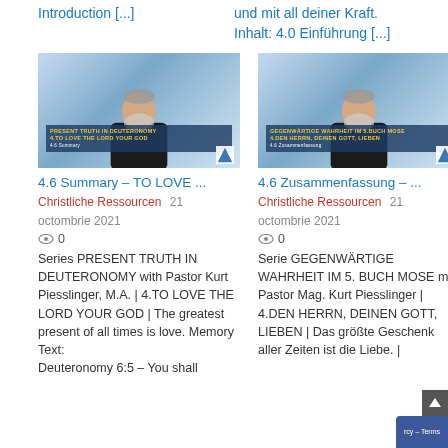Introduction [...]
und mit all deiner Kraft. Inhalt: 4.0 Einführung [...]
[Figure (screenshot): Video thumbnail showing a man with beard and gray hair, text overlay PRESENT TRUTH IN DEUTERONOMY 4.TO LOVE THE LORD YOUR GOD 4.6 Summary]
[Figure (screenshot): Video thumbnail showing a man with beard and gray hair, text overlay GEGENWÄRTIGE WAHRHEIT IM 5.BUCH MOSE 4.DEN HERRN, DEINEN GOTT, LIEBEN 4.6 Zusammenfassung]
4.6 Summary – TO LOVE ...
4.6 Zusammenfassung – ...
Christliche Ressourcen  21 octombrie 2021
Christliche Ressourcen  21 octombrie 2021
0
0
Series PRESENT TRUTH IN DEUTERONOMY with Pastor Kurt Piesslinger, M.A. | 4.TO LOVE THE LORD YOUR GOD | The greatest present of all times is love. Memory Text: Deuteronomy 6:5 – You shall
Serie GEGENWÄRTIGE WAHRHEIT IM 5. BUCH MOSE mit Pastor Mag. Kurt Piesslinger | 4.DEN HERRN, DEINEN GOTT, LIEBEN | Das größte Geschenk aller Zeiten ist die Liebe. |